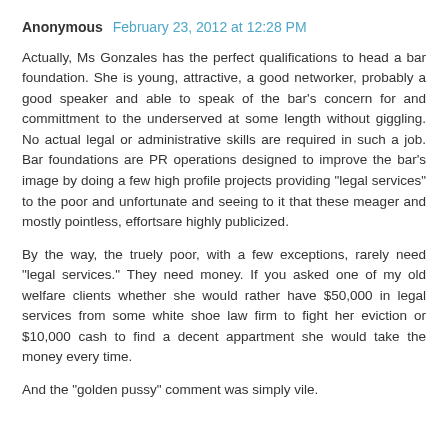Anonymous  February 23, 2012 at 12:28 PM
Actually, Ms Gonzales has the perfect qualifications to head a bar foundation. She is young, attractive, a good networker, probably a good speaker and able to speak of the bar's concern for and committment to the underserved at some length without giggling. No actual legal or administrative skills are required in such a job. Bar foundations are PR operations designed to improve the bar's image by doing a few high profile projects providing "legal services" to the poor and unfortunate and seeing to it that these meager and mostly pointless, effortsare highly publicized.
By the way, the truely poor, with a few exceptions, rarely need "legal services." They need money. If you asked one of my old welfare clients whether she would rather have $50,000 in legal services from some white shoe law firm to fight her eviction or $10,000 cash to find a decent appartment she would take the money every time.
And the "golden pussy" comment was simply vile.